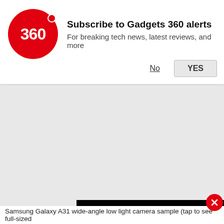Subscribe to Gadgets 360 alerts
For breaking tech news, latest reviews, and more
[Figure (screenshot): Video player with red play button on black background]
Samsung Galaxy A31 wide-angle low light camera sample (tap to see full-sized